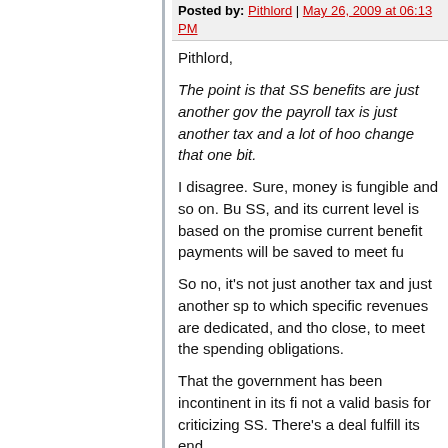Posted by: Pithlord | May 26, 2009 at 06:13 PM
Pithlord,

The point is that SS benefits are just another gov... the payroll tax is just another tax and a lot of hoo... change that one bit.

I disagree. Sure, money is fungible and so on. Bu... SS, and its current level is based on the promise... current benefit payments will be saved to meet fu...

So no, it's not just another tax and just another sp... to which specific revenues are dedicated, and tho... close, to meet the spending obligations.

That the government has been incontinent in its fi... not a valid basis for criticizing SS. There's a deal... fulfill its end.
Posted by: Bernard Yomtov | May 26, 2009 at 09:05 PM
MDS:

Thank goodness, then, that Social Security...